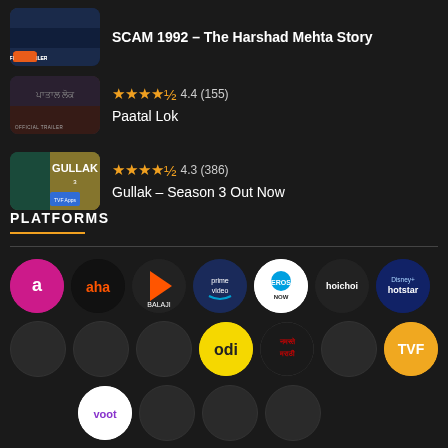[Figure (screenshot): Thumbnail for SCAM 1992 – The Harshad Mehta Story]
SCAM 1992 – The Harshad Mehta Story
[Figure (screenshot): Thumbnail for Paatal Lok with OFFICIAL TRAILER label]
4.4 (155) Paatal Lok
[Figure (screenshot): Thumbnail for Gullak – Season 3 Out Now]
4.3 (386) Gullak – Season 3 Out Now
PLATFORMS
[Figure (infographic): Grid of streaming platform logos: Airtel, aha, ALT Balaji, Prime Video, Eros Now, Hoichoi, Disney+ Hotstar, empty circles, Odi, Namaste Marathi, empty, TVF, Voot, empty circles]